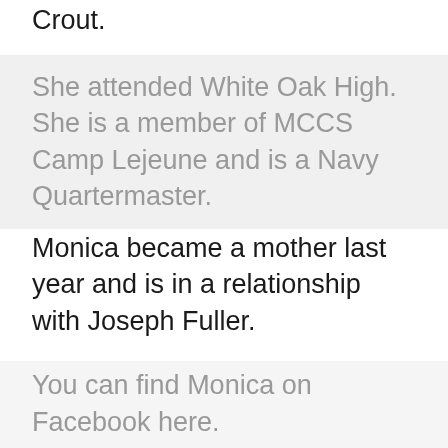Crout.
She attended White Oak High. She is a member of MCCS Camp Lejeune and is a Navy Quartermaster.
Monica became a mother last year and is in a relationship with Joseph Fuller.
Do you think Jeffries is guilty or not?
You can find Monica on Facebook here.